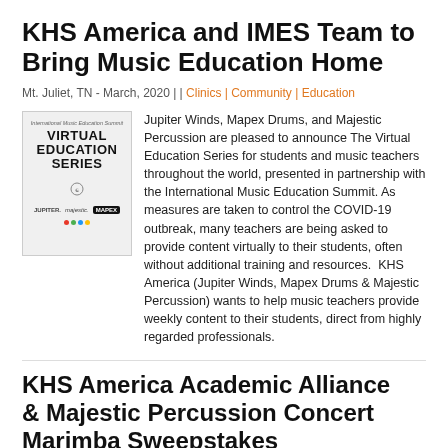KHS America and IMES Team to Bring Music Education Home
Mt. Juliet, TN - March, 2020 | | Clinics | Community | Education
[Figure (illustration): Virtual Education Series promo image with Jupiter Winds, Majestic, and Mapex logos]
Jupiter Winds, Mapex Drums, and Majestic Percussion are pleased to announce The Virtual Education Series for students and music teachers throughout the world, presented in partnership with the International Music Education Summit. As measures are taken to control the COVID-19 outbreak, many teachers are being asked to provide content virtually to their students, often without additional training and resources. KHS America (Jupiter Winds, Mapex Drums & Majestic Percussion) wants to help music teachers provide weekly content to their students, direct from highly regarded professionals.
KHS America Academic Alliance & Majestic Percussion Concert Marimba Sweepstakes
Mt. Juliet, TN - February, 2021 | | Education | KHS America Academic